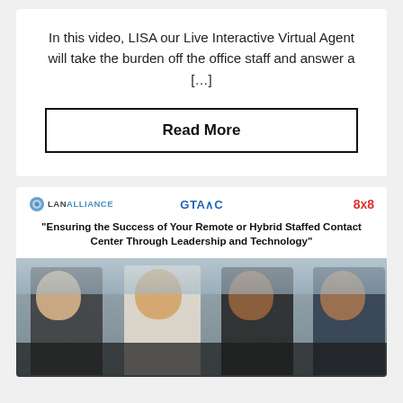In this video, LISA our Live Interactive Virtual Agent will take the burden off the office staff and answer a […]
Read More
[Figure (screenshot): Card with logos: LAN Alliance, GTACC, 8x8, and title 'Ensuring the Success of Your Remote or Hybrid Staffed Contact Center Through Leadership and Technology', with a photo of call center workers wearing headsets at computers.]